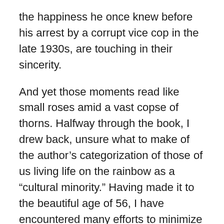the happiness he once knew before his arrest by a corrupt vice cop in the late 1930s, are touching in their sincerity.
And yet those moments read like small roses amid a vast copse of thorns. Halfway through the book, I drew back, unsure what to make of the author’s categorization of those of us living life on the rainbow as a “cultural minority.” Having made it to the beautiful age of 56, I have encountered many efforts to minimize my queer existence, but “cultural minority” was a new one.
Hall also consistently paints her father as different from other men. But she points to stereotypes of masculinity that were laughable even in her 1950s childhood. That she gave credence to the stereotypes because they confirmed her retrospective